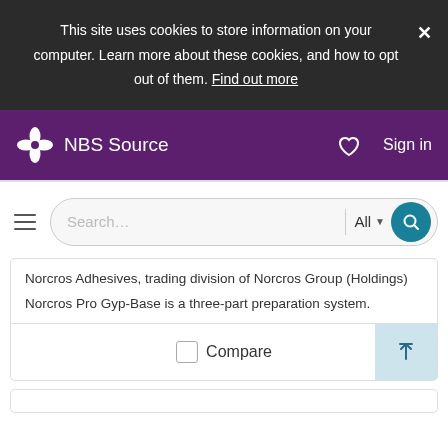This site uses cookies to store information on your computer. Learn more about these cookies, and how to opt out of them. Find out more
[Figure (logo): NBS Source logo with white flower/pinwheel icon on purple background nav bar]
NBS Source
Sign in
[Figure (screenshot): Search bar with hamburger menu, text input placeholder 'Search...', All dropdown, and teal search button]
Norcros Adhesives, trading division of Norcros Group (Holdings)
Norcros Pro Gyp-Base is a three-part preparation system.
Compare